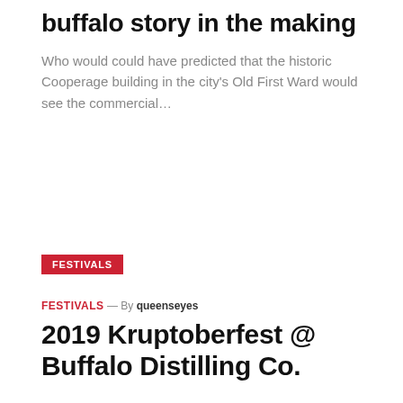buffalo story in the making
Who would could have predicted that the historic Cooperage building in the city's Old First Ward would see the commercial…
FESTIVALS
FESTIVALS — By queenseyes
2019 Kruptoberfest @ Buffalo Distilling Co.